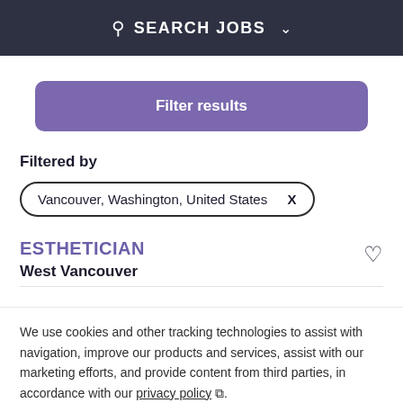SEARCH JOBS
Filter results
Filtered by
Vancouver, Washington, United States  X
ESTHETICIAN
West Vancouver
We use cookies and other tracking technologies to assist with navigation, improve our products and services, assist with our marketing efforts, and provide content from third parties, in accordance with our privacy policy.